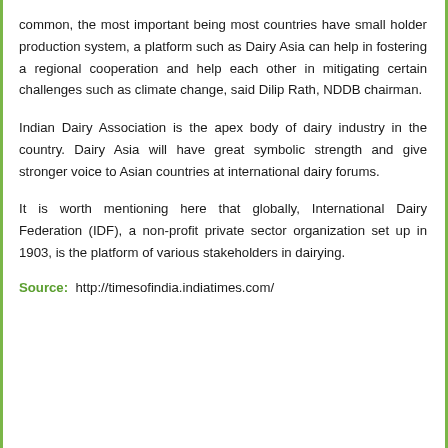common, the most important being most countries have small holder production system, a platform such as Dairy Asia can help in fostering a regional cooperation and help each other in mitigating certain challenges such as climate change, said Dilip Rath, NDDB chairman.
Indian Dairy Association is the apex body of dairy industry in the country. Dairy Asia will have great symbolic strength and give stronger voice to Asian countries at international dairy forums.
It is worth mentioning here that globally, International Dairy Federation (IDF), a non-profit private sector organization set up in 1903, is the platform of various stakeholders in dairying.
Source:  http://timesofindia.indiatimes.com/